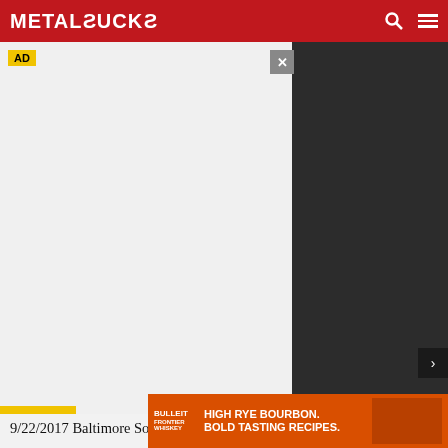MetalSucks
[Figure (screenshot): Advertisement banner area with gray background, AD label in yellow, close button, and dark right panel]
9/22/2017 Baltimore Sound Stage – Baltimore, MD
9/23/2017 The Gramercy Theatre – New York, NY
9/24/2017 Paradise Rock Club – Boston, MA
9/26/2017 Mr. Small's Theatre – Pittsburgh, PA
9/27/2017 The Agora Theatre – Cleveland, OH
9/28/2017 Crofoot Ballroom – Pontiac, MI
9/29/2017 Opera House – Toronto, ON
9/30/2017 …
[Figure (screenshot): Bulleit Bourbon advertisement banner: HIGH RYE BOURBON. BOLD TASTING RECIPES.]